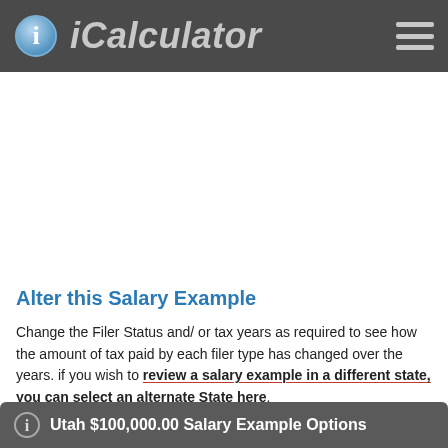iCalculator
Alter this Salary Example
Change the Filer Status and/ or tax years as required to see how the amount of tax paid by each filer type has changed over the years. if you wish to review a salary example in a different state, you can select an alternate State here.
Utah $100,000.00 Salary Example Options